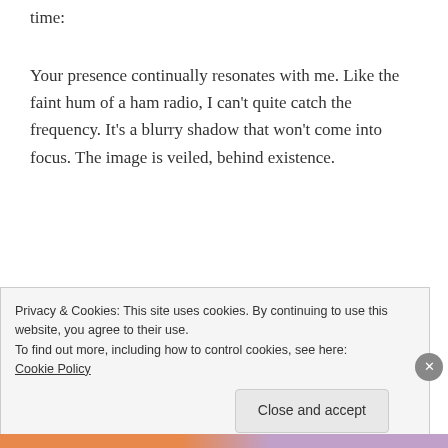time:
Your presence continually resonates with me. Like the faint hum of a ham radio, I can't quite catch the frequency. It's a blurry shadow that won't come into focus. The image is veiled, behind existence.
Take care, “happy” anniversary.
★ Like
Privacy & Cookies: This site uses cookies. By continuing to use this website, you agree to their use.
To find out more, including how to control cookies, see here: Cookie Policy
Close and accept